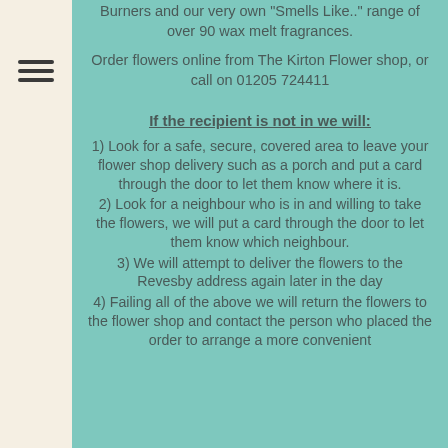Burners and our very own "Smells Like.." range of over 90 wax melt fragrances.
Order flowers online from The Kirton Flower shop, or call on 01205 724411
If the recipient is not in we will:
1) Look for a safe, secure, covered area to leave your flower shop delivery such as a porch and put a card through the door to let them know where it is.
2) Look for a neighbour who is in and willing to take the flowers, we will put a card through the door to let them know which neighbour.
3) We will attempt to deliver the flowers to the Revesby address again later in the day
4) Failing all of the above we will return the flowers to the flower shop and contact the person who placed the order to arrange a more convenient